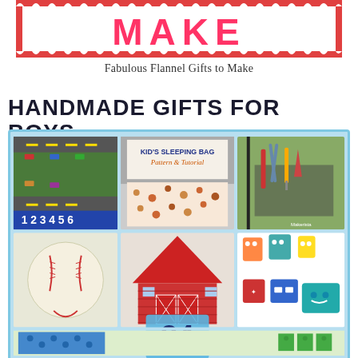[Figure (illustration): Header banner with decorative red scalloped border and large pink/red block letters spelling MAKE on a white background]
Fabulous Flannel Gifts to Make
HANDMADE GIFTS FOR BOYS
[Figure (photo): Collage of handmade gifts for boys including: a fabric car road mat with numbered slots 1-6, a kid's sleeping bag with pattern and tutorial label, a tool belt with toy tools, a baseball, a fabric barn house toy, colorful monster/superhero stuffed animals, a number 34 overlay, and a LEGO or activity mat at the bottom]